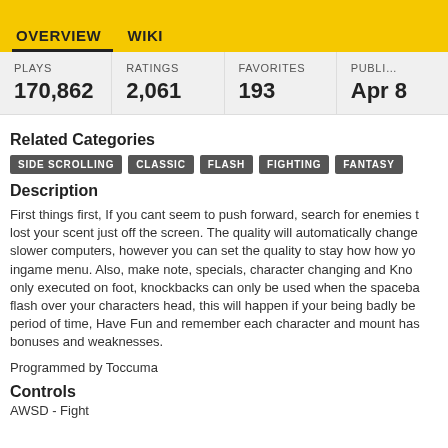OVERVIEW   WIKI
| PLAYS | RATINGS | FAVORITES | PUBLI... |
| --- | --- | --- | --- |
| 170,862 | 2,061 | 193 | Apr 8 |
Related Categories
SIDE SCROLLING
CLASSIC
FLASH
FIGHTING
FANTASY
Description
First things first, If you cant seem to push forward, search for enemies that lost your scent just off the screen. The quality will automatically change for slower computers, however you can set the quality to stay how how you like ingame menu. Also, make note, specials, character changing and Knockbacks are only executed on foot, knockbacks can only be used when the spacebar starts to flash over your characters head, this will happen if your being badly beaten for a period of time, Have Fun and remember each character and mount has their own bonuses and weaknesses.
Programmed by Toccuma
Controls
AWSD - Fight